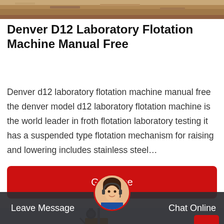[Figure (photo): Top strip image showing sandy/earth terrain background]
Denver D12 Laboratory Flotation Machine Manual Free
Denver d12 laboratory flotation machine manual free the denver model d12 laboratory flotation machine is the world leader in froth flotation laboratory testing it has a suspended type flotation mechanism for raising and lowering includes stainless steel…
[Figure (other): Red button labeled Get Price]
[Figure (photo): Bottom image of industrial flotation/cement tower with blue cylinder, yellow top, steel lattice structure against blue sky background]
Leave Message   Chat Online